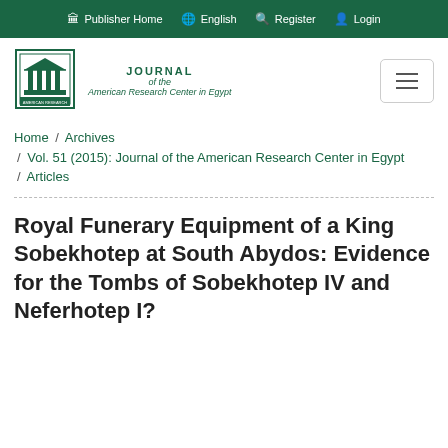Publisher Home  English  Register  Login
[Figure (logo): ARCE Journal of the American Research Center in Egypt logo with building/column motif in green]
JOURNAL of the American Research Center in Egypt
Home / Archives / Vol. 51 (2015): Journal of the American Research Center in Egypt / Articles
Royal Funerary Equipment of a King Sobekhotep at South Abydos: Evidence for the Tombs of Sobekhotep IV and Neferhotep I?